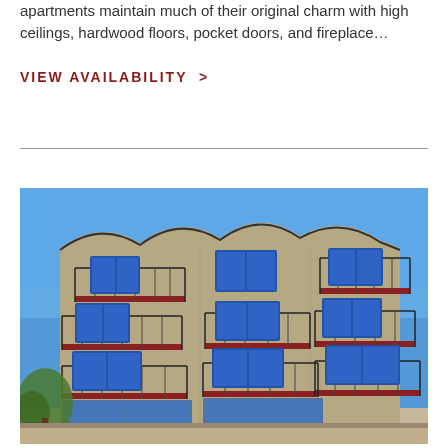apartments maintain much of their original charm with high ceilings, hardwood floors, pocket doors, and fireplace…
VIEW AVAILABILITY >
[Figure (photo): Exterior photo of a multi-story tan/beige stucco apartment building with red-trimmed balconies and wrought-iron railings, taken from a low angle against a bright blue sky. Trees are visible at lower left.]